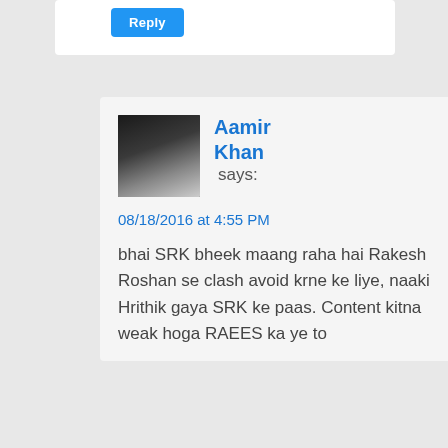Reply
Aamir Khan says:
08/18/2016 at 4:55 PM
bhai SRK bheek maang raha hai Rakesh Roshan se clash avoid krne ke liye, naaki Hrithik gaya SRK ke paas. Content kitna weak hoga RAEES ka ye to